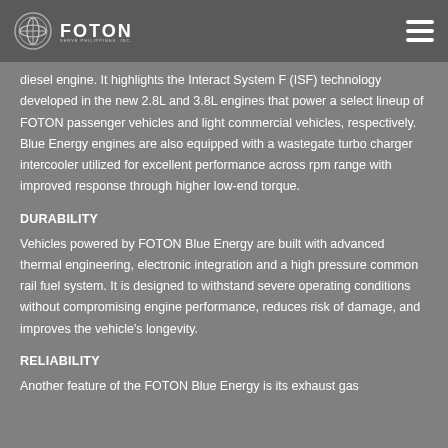FOTON
diesel engine. It highlights the Interact System F (ISF) technology developed in the new 2.8L and 3.8L engines that power a select lineup of FOTON passenger vehicles and light commercial vehicles, respectively. Blue Energy engines are also equipped with a wastegate turbo charger intercooler utilized for excellent performance across rpm range with improved response through higher low-end torque.
DURABILITY
Vehicles powered by FOTON Blue Energy are built with advanced thermal engineering, electronic integration and a high pressure common rail fuel system. It is designed to withstand severe operating conditions without compromising engine performance, reduces risk of damage, and improves the vehicle's longevity.
RELIABILITY
Another feature of the FOTON Blue Energy is its exhaust gas